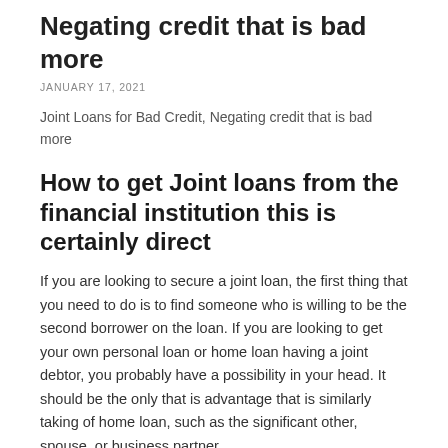Negating credit that is bad more
JANUARY 17, 2021
Joint Loans for Bad Credit, Negating credit that is bad more
How to get Joint loans from the financial institution this is certainly direct
If you are looking to secure a joint loan, the first thing that you need to do is to find someone who is willing to be the second borrower on the loan. If you are looking to get your own personal loan or home loan having a joint debtor, you probably have a possibility in your head. It should be the only that is advantage that is similarly taking of home loan, such as the significant other, spouse, or business partner.